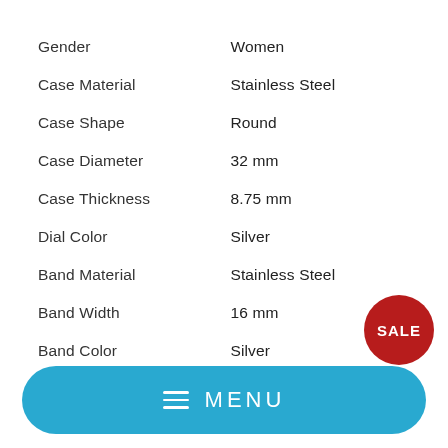| Property | Value |
| --- | --- |
| Gender | Women |
| Case Material | Stainless Steel |
| Case Shape | Round |
| Case Diameter | 32 mm |
| Case Thickness | 8.75 mm |
| Dial Color | Silver |
| Band Material | Stainless Steel |
| Band Width | 16 mm |
| Band Color | Silver |
| Water resistance | 5 ATM |
[Figure (other): Red circular SALE badge]
MENU